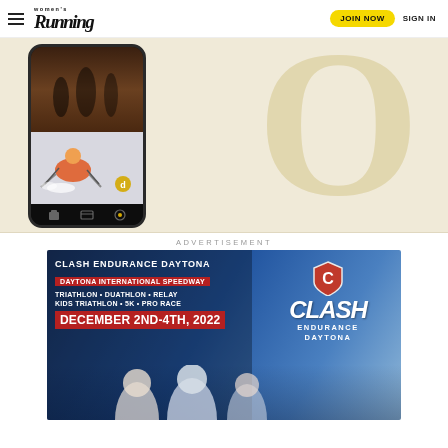Women's Running | JOIN NOW | SIGN IN
[Figure (screenshot): Mobile app screenshot showing skiing content, displayed on a smartphone with a large decorative letter O in background, on a cream/beige background]
ADVERTISEMENT
[Figure (infographic): Clash Endurance Daytona advertisement. Text: CLASH ENDURANCE DAYTONA, DAYTONA INTERNATIONAL SPEEDWAY, TRIATHLON • DUATHLON • RELAY, KIDS TRIATHLON • 5K • PRO RACE, DECEMBER 2ND-4TH, 2022. Clash Endurance Daytona logo on right. Image of athletes in background.]